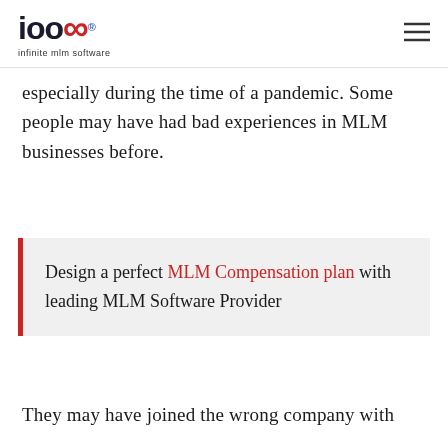ioo∞ ® infinite mlm software
especially during the time of a pandemic. Some people may have had bad experiences in MLM businesses before.
Design a perfect MLM Compensation plan with leading MLM Software Provider
They may have joined the wrong company with